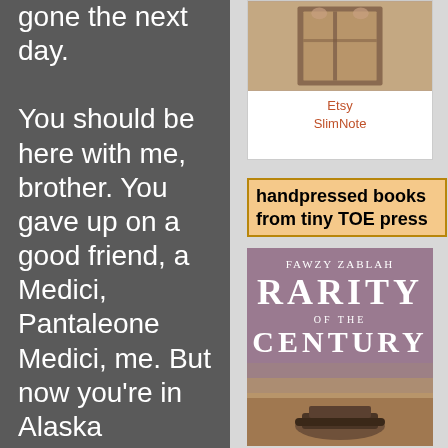gone the next day.

You should be here with me, brother. You gave up on a good friend, a Medici, Pantaleone Medici, me. But now you're in Alaska
[Figure (photo): Small book/notebook image, thumbnail photo on Etsy card]
Etsy SlimNote
handpressed books from tiny TOE press
[Figure (photo): Book cover: Fawzy Zablah - Rarity of the Century, with desert landscape background]